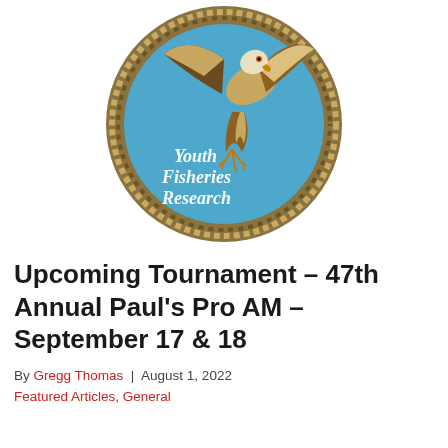[Figure (illustration): Circular badge/logo with rope border, blue background, an osprey or hawk bird diving, and white italic text reading 'Youth Fisheries Research']
Upcoming Tournament – 47th Annual Paul's Pro AM – September 17 & 18
By Gregg Thomas | August 1, 2022
Featured Articles, General